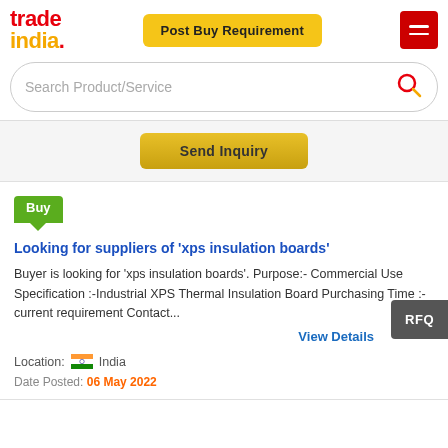tradeindia. | Post Buy Requirement | menu
Search Product/Service
Send Inquiry
Looking for suppliers of 'xps insulation boards'
Buyer is looking for 'xps insulation boards'. Purpose:- Commercial Use Specification :-Industrial XPS Thermal Insulation Board Purchasing Time :- current requirement Contact...
View Details
Location: India
Date Posted: 06 May 2022